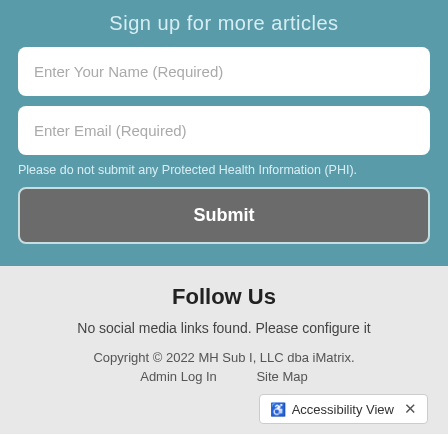Sign up for more articles
Enter Your Name (Required)
Enter Email (Required)
Please do not submit any Protected Health Information (PHI).
Submit
Follow Us
No social media links found. Please configure it
Copyright © 2022 MH Sub I, LLC dba iMatrix. Admin Log In  Site Map
Accessibility View ×